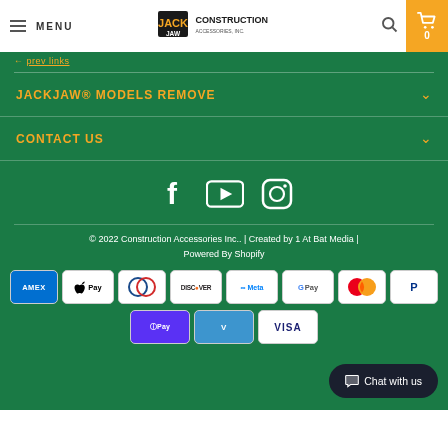MENU | JACKJAW Construction Accessories Inc | Search | Cart 0
< prev links
JACKJAW® MODELS REMOVE
CONTACT US
[Figure (infographic): Social media icons: Facebook, YouTube, Instagram]
© 2022 Construction Accessories Inc.. | Created by 1 At Bat Media | Powered By Shopify
[Figure (infographic): Payment method badges: AMEX, Apple Pay, Diners, Discover, Meta Pay, Google Pay, Mastercard, PayPal, Shop Pay, Venmo, Visa]